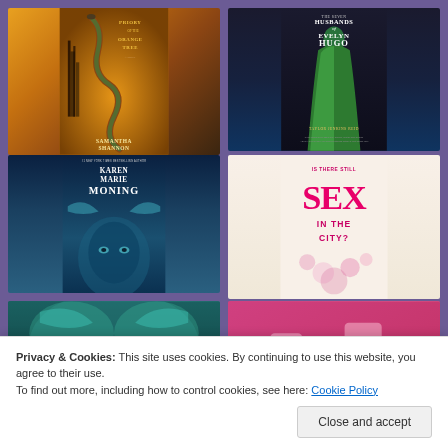[Figure (photo): Book cover: Priory of the Orange Tree by Samantha Shannon - fantasy novel with snake and orange/golden background]
[Figure (photo): Book cover: The Seven Husbands of Evelyn Hugo by Taylor Jenkins Reid - dark background with green dress figure]
[Figure (photo): Book cover: Karen Marie Moning - #1 New York Times Bestselling Author, teal/blue fantasy cover]
[Figure (photo): Book cover: Is There Still Sex in the City? - pink/magenta text on light background]
[Figure (photo): Book cover: Voltage (partial, bottom left) - teal/green fantasy cover by Karen Marie Moning]
[Figure (photo): Book cover: (partial, bottom right) - pink/red cover]
Privacy & Cookies: This site uses cookies. By continuing to use this website, you agree to their use.
To find out more, including how to control cookies, see here: Cookie Policy
Close and accept